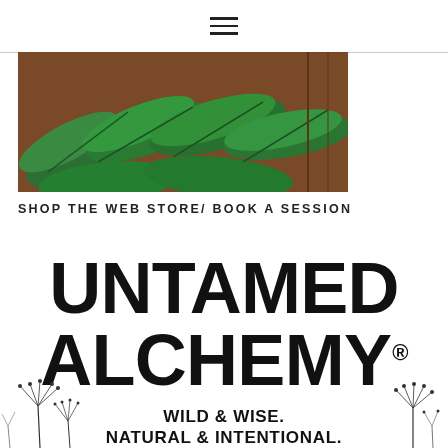☰ (hamburger menu icon)
[Figure (photo): Close-up photo of large green tropical leaves with wooden background visible, taking up left portion of page below header]
SHOP THE WEB STORE/ BOOK A SESSION
UNTAMED ALCHEMY®
WILD & WISE. NATURAL & INTENTIONAL.
[Figure (illustration): Botanical line illustrations of dried plant stems / dandelion-like flowers on left and right sides framing the tagline text]